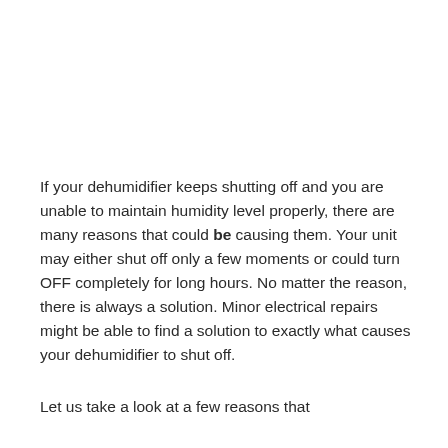If your dehumidifier keeps shutting off and you are unable to maintain humidity level properly, there are many reasons that could be causing them. Your unit may either shut off only a few moments or could turn OFF completely for long hours. No matter the reason, there is always a solution. Minor electrical repairs might be able to find a solution to exactly what causes your dehumidifier to shut off.
Let us take a look at a few reasons that